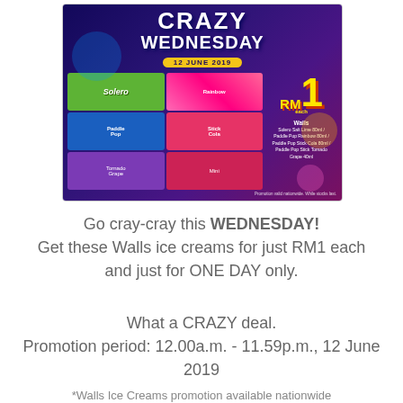[Figure (photo): Walls ice cream Crazy Wednesday promotional banner dated 12 June 2019, showing various ice cream products (Solero, Paddle Pop Rainbow, Paddle Pop Stick Cola, Paddle Pop Stick Tornado, Grape) for RM1 each on a purple/blue background.]
Go cray-cray this WEDNESDAY!
Get these Walls ice creams for just RM1 each
and just for ONE DAY only.
What a CRAZY deal.
Promotion period: 12.00a.m. - 11.59p.m., 12 June 2019
*Walls Ice Creams promotion available nationwide